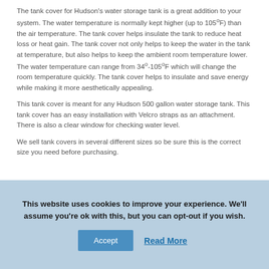The tank cover for Hudson's water storage tank is a great addition to your system. The water temperature is normally kept higher (up to 105ºF) than the air temperature. The tank cover helps insulate the tank to reduce heat loss or heat gain. The tank cover not only helps to keep the water in the tank at temperature, but also helps to keep the ambient room temperature lower. The water temperature can range from 34º-105ºF which will change the room temperature quickly. The tank cover helps to insulate and save energy while making it more aesthetically appealing.
This tank cover is meant for any Hudson 500 gallon water storage tank. This tank cover has an easy installation with Velcro straps as an attachment. There is also a clear window for checking water level.
We sell tank covers in several different sizes so be sure this is the correct size you need before purchasing.
This website uses cookies to improve your experience. We'll assume you're ok with this, but you can opt-out if you wish.